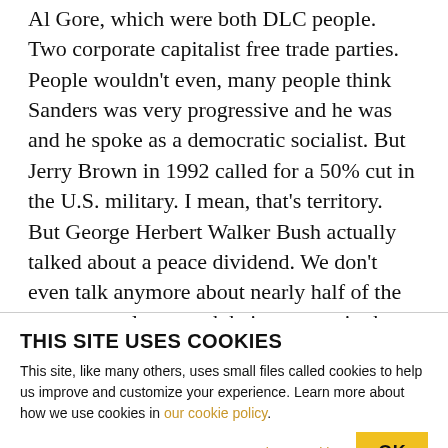Al Gore, which were both DLC people. Two corporate capitalist free trade parties. People wouldn't even, many people think Sanders was very progressive and he was and he spoke as a democratic socialist. But Jerry Brown in 1992 called for a 50% cut in the U.S. military. I mean, that's territory. But George Herbert Walker Bush actually talked about a peace dividend. We don't even talk anymore about nearly half of the money on planet earth beings spent in the U.S. military. And we've got soldier arguably or advisers in 181 out of 203 nations no one wants to
THIS SITE USES COOKIES
This site, like many others, uses small files called cookies to help us improve and customize your experience. Learn more about how we use cookies in our cookie policy.
Learn more about cookies   OK